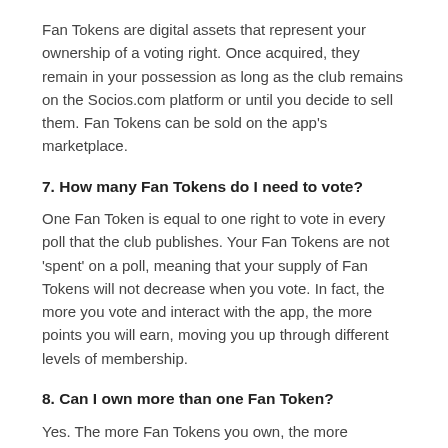Fan Tokens are digital assets that represent your ownership of a voting right. Once acquired, they remain in your possession as long as the club remains on the Socios.com platform or until you decide to sell them. Fan Tokens can be sold on the app’s marketplace.
7. How many Fan Tokens do I need to vote?
One Fan Token is equal to one right to vote in every poll that the club publishes. Your Fan Tokens are not ‘spent’ on a poll, meaning that your supply of Fan Tokens will not decrease when you vote. In fact, the more you vote and interact with the app, the more points you will earn, moving you up through different levels of membership.
8. Can I own more than one Fan Token?
Yes. The more Fan Tokens you own, the more influence you can exert because every Fan Token gives you a vote. For example, if you own ten Fan Tokens, your vote